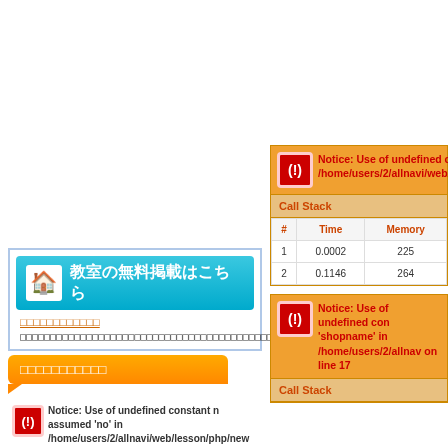[Figure (screenshot): Blue banner button with house icon and Japanese text 教室の無料掲載はこちら]
（Japanese link text）
（Japanese body text block）
[Figure (screenshot): Orange button/label with Japanese text and speech bubble tail]
Notice: Use of undefined constant n assumed 'no' in /home/users/2/allnavi/web/lesson/php/new on line 29
| # | Time | Memory |
| --- | --- | --- |
| 1 | 0.0002 | 225… |
| 2 | 0.1146 | 264… |
Notice: Use of undefined con 'shopname' in /home/users/2/allnav on line 17
Call Stack